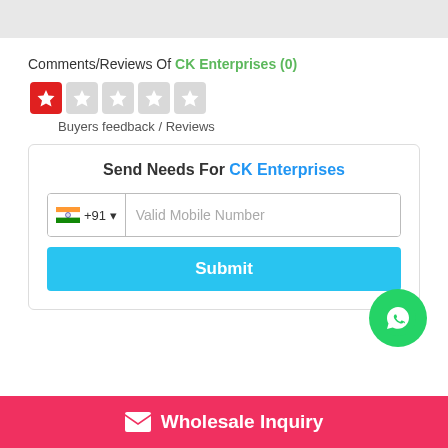Comments/Reviews Of CK Enterprises (0)
[Figure (other): Star rating display: 1 filled red star followed by 4 empty grey stars]
Buyers feedback / Reviews
Send Needs For CK Enterprises
Valid Mobile Number
Submit
[Figure (logo): WhatsApp green circle logo/bubble]
Wholesale Inquiry